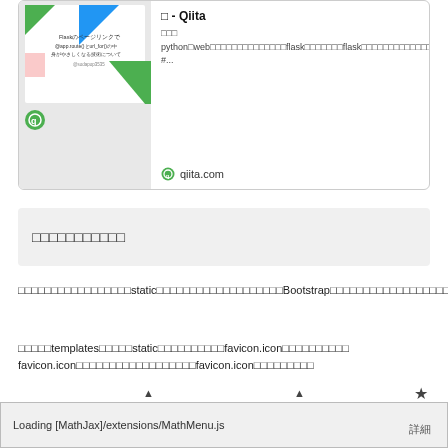[Figure (screenshot): Link preview card for a Qiita article about Flask. Contains a thumbnail with Japanese text about Flask routes and a Qiita logo area, plus article title and description in Japanese, with qiita.com domain shown at bottom.]
□□□□□□□□□□□
□□□□□□□□□□□□□□□□□static□□□□□□□□□□□□□□□□□□□Bootstrap□□□□□□□□□□□□□□□□□
□□□□□templatesの□□□□static□□□□□□□□□□favicon.icon□□□□□□□□□□
favicon.icon□□□□□□□□□□□□□□□□favicon.icon□□□□□□□□□
base.html□{% block title %}□{% block navbar %}□□□□□□□□□□□□□□□□
Loading [MathJax]/extensions/MathMenu.js